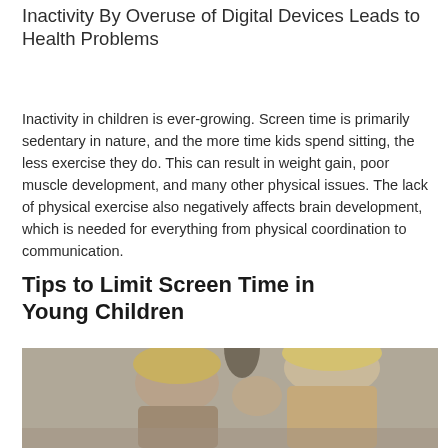Inactivity By Overuse of Digital Devices Leads to Health Problems
Inactivity in children is ever-growing. Screen time is primarily sedentary in nature, and the more time kids spend sitting, the less exercise they do. This can result in weight gain, poor muscle development, and many other physical issues. The lack of physical exercise also negatively affects brain development, which is needed for everything from physical coordination to communication.
Tips to Limit Screen Time in Young Children
[Figure (photo): A woman and a young child with light hair, photographed close up, leaning toward each other, photo in color against a neutral background.]